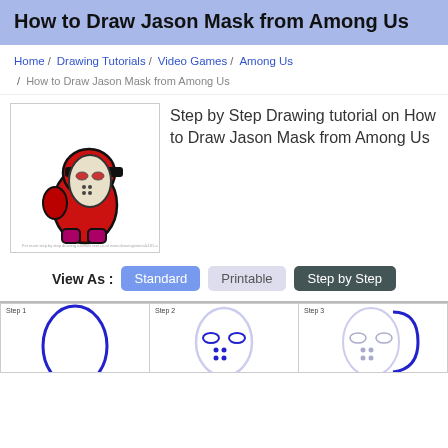How to Draw Jason Mask from Among Us
Home / Drawing Tutorials / Video Games / Among Us / How to Draw Jason Mask from Among Us
[Figure (illustration): Drawing of Among Us character wearing a Jason hockey mask, red/maroon body with a white mask with red eye holes and dots]
Step by Step Drawing tutorial on How to Draw Jason Mask from Among Us
View As : Standard  Printable  Step by Step
[Figure (illustration): Step 1: outline oval/rounded rectangle shape in blue ink]
[Figure (illustration): Step 2: rounded head with eye holes and dot details added]
[Figure (illustration): Step 3: partial head outline being drawn with blue stroke, facial details visible]